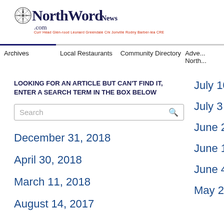[Figure (logo): NorthWordNews.com logo with compass rose icon and tagline]
Archives | Local Restaurants | Community Directory | Adve... North...
LOOKING FOR AN ARTICLE BUT CAN'T FIND IT, ENTER A SEARCH TERM IN THE BOX BELOW
Search
December 31, 2018
April 30, 2018
March 11, 2018
August 14, 2017
July 10 - July ...
July 3 - July 8
June 26 - July ...
June 18 - June ...
June 4 - June ...
May 28 - June ...